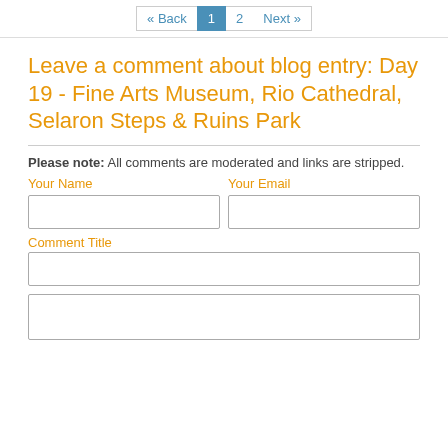« Back  1  2  Next »
Leave a comment about blog entry: Day 19 - Fine Arts Museum, Rio Cathedral, Selaron Steps & Ruins Park
Please note: All comments are moderated and links are stripped.
Your Name
Your Email
Comment Title